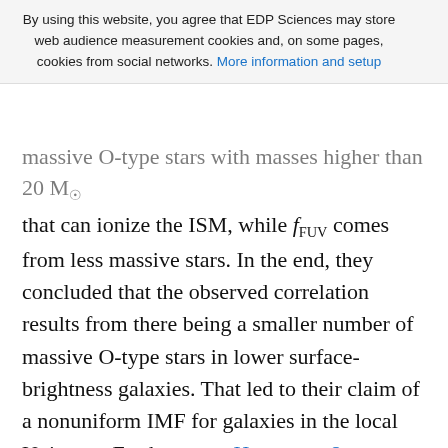By using this website, you agree that EDP Sciences may store web audience measurement cookies and, on some pages, cookies from social networks. More information and setup
massive O-type stars with masses higher than 20 M☉ that can ionize the ISM, while fFUV comes from less massive stars. In the end, they concluded that the observed correlation results from there being a smaller number of massive O-type stars in lower surface-brightness galaxies. That led to their claim of a nonuniform IMF for galaxies in the local Universe. Furthermore, Hoversten & Glazebrook (2008) investigated the IMFs for a large number of galaxies with different magnitudes in a database of the Sloan Digital Sky Survey and found that the IMFs in bright galaxies such as the Milky Way are similar to the Salpeter IMF, whereas fainter galaxies tend to have steeper IMFs. Their results imply that fewer massive